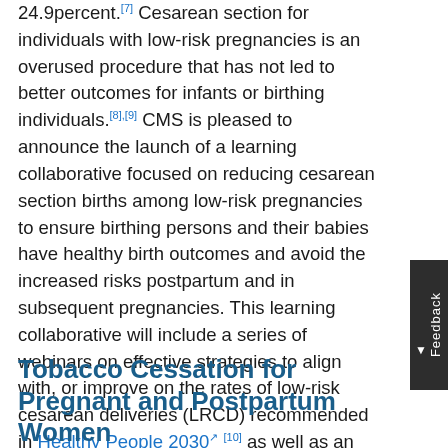24.9percent.[7] Cesarean section for individuals with low-risk pregnancies is an overused procedure that has not led to better outcomes for infants or birthing individuals.[8],[9] CMS is pleased to announce the launch of a learning collaborative focused on reducing cesarean section births among low-risk pregnancies to ensure birthing persons and their babies have healthy birth outcomes and avoid the increased risks postpartum and in subsequent pregnancies. This learning collaborative will include a series of webinars on effective strategies to align with, or improve on the rates of low-risk cesarean deliveries (LRCD) recommended in Healthy People 2030 [10] as well as an affinity group for states interested in developing and implementing QI projects to reduce the rate of LRCD births. More information on the LRCD learning collaborative can be found here.
Tobacco Cessation for Pregnant and Postpartum Women